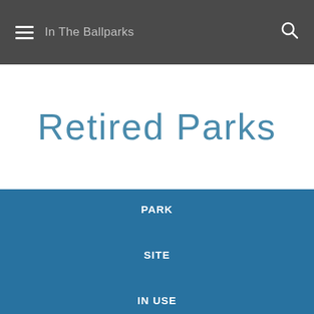In The Ballparks
Retired Parks
PARK
SITE
IN USE